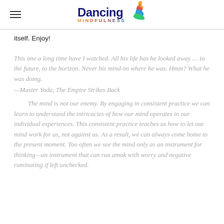Dancing Mindfulness
itself. Enjoy!
This one a long time have I watched. All his life has he looked away … to the future, to the horizon. Never his mind on where he was. Hmm? What he was doing.
—Master Yoda, The Empire Strikes Back
The mind is not our enemy. By engaging in consistent practice we can learn to understand the intricacies of how our mind operates in our individual experiences. This consistent practice teaches us how to let our mind work for us, not against us. As a result, we can always come home to the present moment. Too often we see the mind only as an instrument for thinking—an instrument that can run amok with worry and negative ruminating if left unchecked.